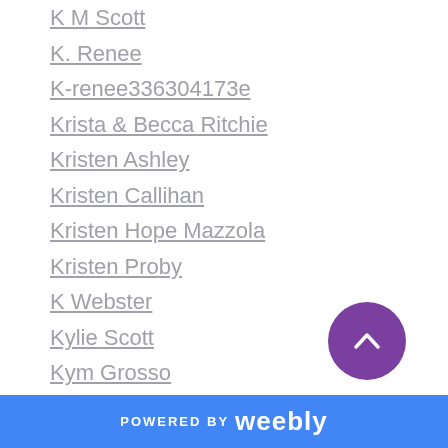K M Scott
K. Renee
K-renee336304173e
Krista & Becca Ritchie
Kristen Ashley
Kristen Callihan
Kristen Hope Mazzola
Kristen Proby
K Webster
Kylie Scott
Kym Grosso
Lacey Black
L.A. Cotton
Lane Hart
Lane Hayes
Laney McMann
Lani Lynn Vale
POWERED BY weebly